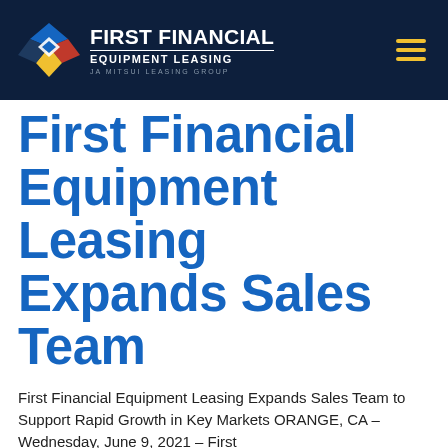FIRST FINANCIAL EQUIPMENT LEASING | JA MITSUI LEASING GROUP
First Financial Equipment Leasing Expands Sales Team
First Financial Equipment Leasing Expands Sales Team to Support Rapid Growth in Key Markets ORANGE, CA – Wednesday, June 9, 2021 – First